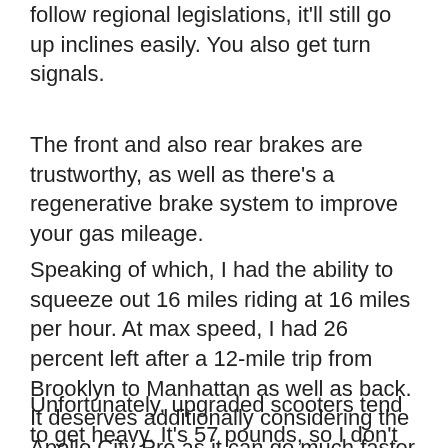follow regional legislations, it'll still go up inclines easily. You also get turn signals.
The front and also rear brakes are trustworthy, as well as there's a regenerative brake system to improve your gas mileage.
Speaking of which, I had the ability to squeeze out 16 miles riding at 16 miles per hour. At max speed, I had 26 percent left after a 12-mile trip from Brooklyn to Manhattan as well as back. It deserves additionally considering the Apollo City Pro as it can go much faster and also has a longer range.
Unfortunately, upgraded scooters tend to get heavy. It's 57 pounds, so I don't advise bring this